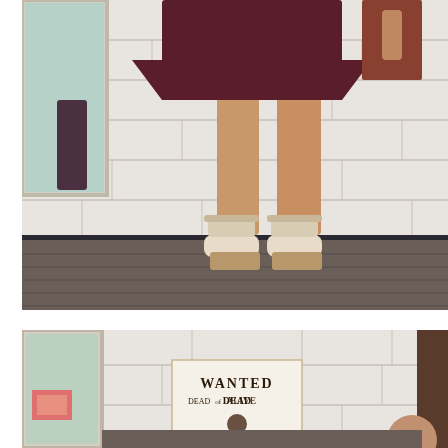[Figure (photo): Photo of a person from mid-torso down wearing a dark maroon/burgundy skirt and beige platform wedge sandals with ankle straps, standing against a white cinder block wall with dark carpeted floor and a mirror visible on the left.]
[Figure (photo): Partial photo showing the bottom portion of the same scene — white cinder block wall, a 'WANTED DEAD or ALIVE' poster visible on the wall, and dark carpet floor. Appears to be the top of a person's head at the bottom right.]